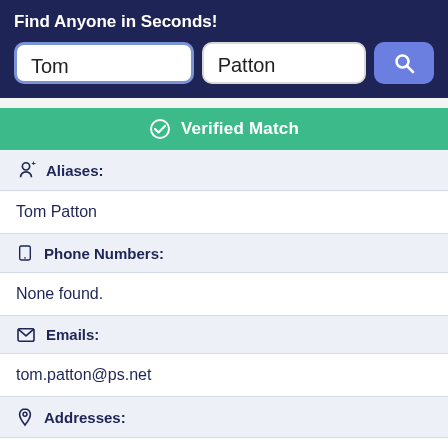Find Anyone in Seconds!
Tom
Patton
Verified Match
Aliases:
Tom Patton
Phone Numbers:
None found.
Emails:
tom.patton@ps.net
Addresses:
Detroit, Michigan, United States
Record Overview:
There are 1 Addresses for this record, 0 phone